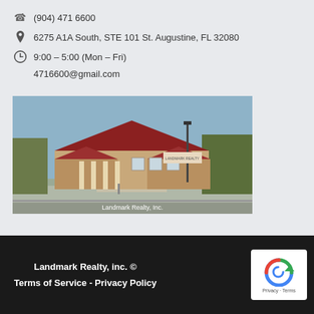(904) 471 6600
6275 A1A South, STE 101 St. Augustine, FL 32080
9:00 – 5:00 (Mon – Fri)
4716600@gmail.com
[Figure (photo): Exterior photo of Landmark Realty, Inc. office building with red roof, brick facade, columns, and parking lot. Caption reads: Landmark Realty, Inc.]
Landmark Realty, inc. ©
Terms of Service - Privacy Policy